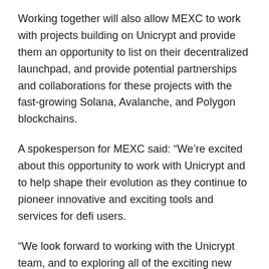Working together will also allow MEXC to work with projects building on Unicrypt and provide them an opportunity to list on their decentralized launchpad, and provide potential partnerships and collaborations for these projects with the fast-growing Solana, Avalanche, and Polygon blockchains.
A spokesperson for MEXC said: “We’re excited about this opportunity to work with Unicrypt and to help shape their evolution as they continue to pioneer innovative and exciting tools and services for defi users.
“We look forward to working with the Unicrypt team, and to exploring all of the exciting new projects being developed on the Unicrypt ecosystem.”
About Unicrypt